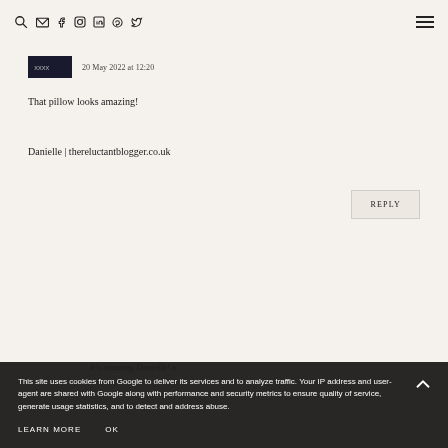Navigation bar with search, email, facebook, instagram, linkedin, pinterest, twitter icons and hamburger menu
20 May 2022 at 12:20
That pillow looks amazing!
Danielle | thereluctantblogger.co.uk
REPLY
It's amazing Danielle! x
This site uses cookies from Google to deliver its services and to analyze traffic. Your IP address and user-agent are shared with Google along with performance and security metrics to ensure quality of service, generate usage statistics, and to detect and address abuse.
LEARN MORE
OK